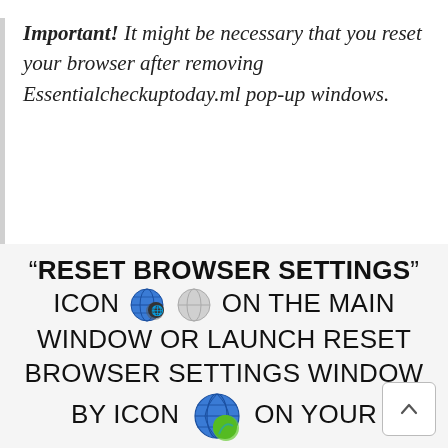Important! It might be necessary that you reset your browser after removing Essentialcheckuptoday.ml pop-up windows.
"RESET BROWSER SETTINGS" ICON [globe icon] ON THE MAIN WINDOW OR LAUNCH RESET BROWSER SETTINGS WINDOW BY ICON [globe icon] ON YOUR